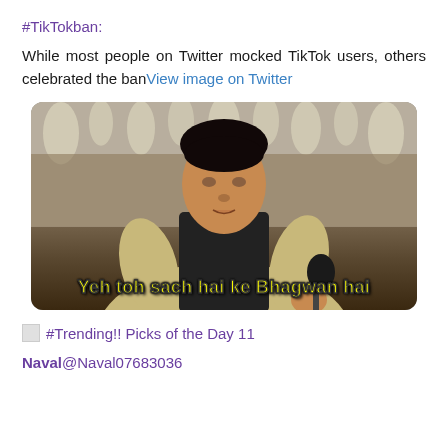#TikTokban:
While most people on Twitter mocked TikTok users, others celebrated the ban View image on Twitter
[Figure (photo): Meme image of a man in a beige suit holding a microphone, with caption text 'Yeh toh sach hai ke Bhagwan hai' in yellow bold font]
#Trending!! Picks of the Day 11
Naval@Naval07683036